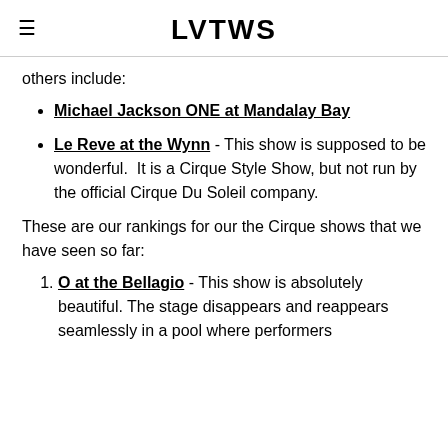LVTWS
others include:
Michael Jackson ONE at Mandalay Bay
Le Reve at the Wynn - This show is supposed to be wonderful. It is a Cirque Style Show, but not run by the official Cirque Du Soleil company.
These are our rankings for our the Cirque shows that we have seen so far:
O at the Bellagio - This show is absolutely beautiful. The stage disappears and reappears seamlessly in a pool where performers